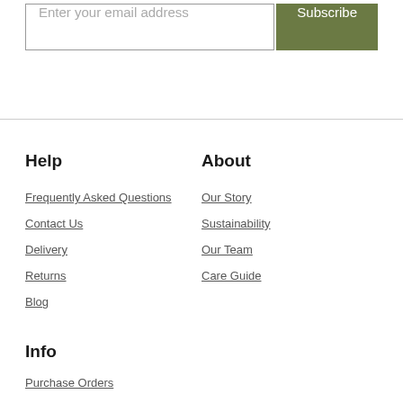Enter your email address
Subscribe
Help
Frequently Asked Questions
Contact Us
Delivery
Returns
Blog
About
Our Story
Sustainability
Our Team
Care Guide
Info
Purchase Orders